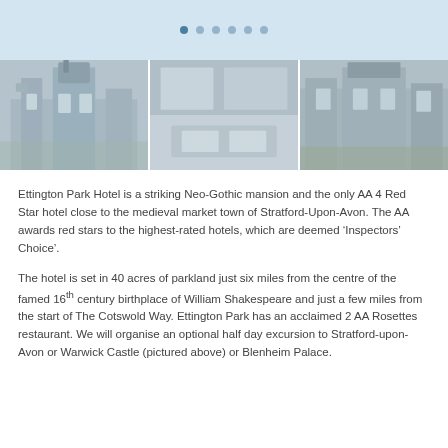[Figure (photo): Top banner with light blue/grey background and six navigation dots (first dot active/filled, remaining dots lighter)]
[Figure (photo): Three side-by-side photos: left shows a Neo-Gothic mansion (Ettington Park Hotel exterior), middle shows a modern building interior or exterior, right shows another exterior view possibly Warwick Castle]
Ettington Park Hotel is a striking Neo-Gothic mansion and the only AA 4 Red Star hotel close to the medieval market town of Stratford-Upon-Avon. The AA awards red stars to the highest-rated hotels, which are deemed ‘Inspectors’ Choice’.
The hotel is set in 40 acres of parkland just six miles from the centre of the famed 16th century birthplace of William Shakespeare and just a few miles from the start of The Cotswold Way. Ettington Park has an acclaimed 2 AA Rosettes restaurant. We will organise an optional half day excursion to Stratford-upon-Avon or Warwick Castle (pictured above) or Blenheim Palace.